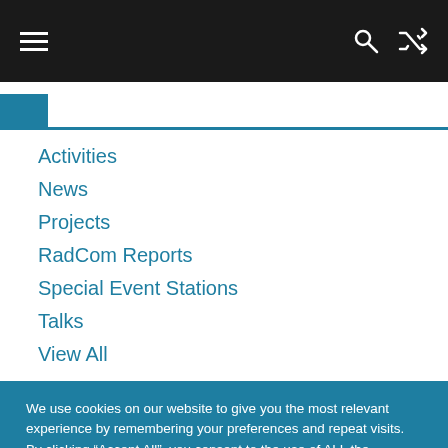Navigation bar with hamburger menu, search and shuffle icons
Activities
News
Projects
RadCom Reports
Special Event Stations
Talks
View All
We use cookies on our website to give you the most relevant experience by remembering your preferences and repeat visits. By clicking “Accept All”, you consent to the use of ALL the cookies. However, you may visit "Cookie Settings" to provide a controlled consent.